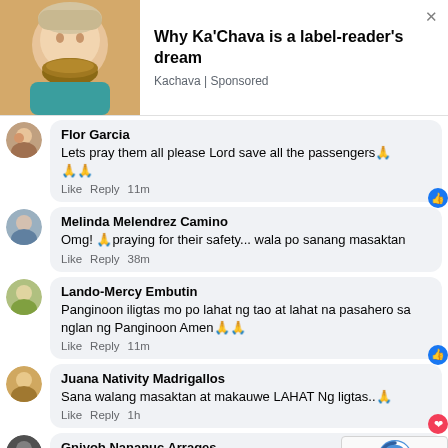[Figure (infographic): Advertisement banner showing a person drinking from a bowl and text 'Why Ka'Chava is a label-reader's dream', source: Kachava | Sponsored]
Flor Garcia
Lets pray them all please Lord save all the passengers 🙏🙏🙏
Like  Reply  11m
Melinda Melendrez Camino
Omg! 🙏 praying for their safety... wala po sanang masaktan
Like  Reply  38m
Lando-Mercy Embutin
Panginoon iligtas mo po lahat ng tao at lahat na pasahero sa nglan ng Panginoon Amen🙏🙏
Like  Reply  11m
Juana Nativity Madrigallos
Sana walang masaktan at makauwe LAHAT Ng ligtas..🙏
Like  Reply  1h
Gniyob Nananuc Arrages
Sobrahan sa Krudo kaya nag liyab hahaha